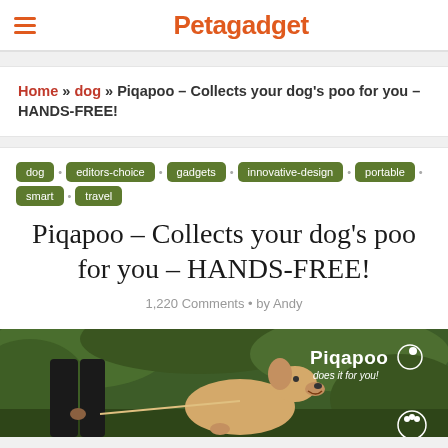Petagadget
Home » dog » Piqapoo – Collects your dog's poo for you – HANDS-FREE!
dog
editors-choice
gadgets
innovative-design
portable
smart
travel
Piqapoo – Collects your dog's poo for you – HANDS-FREE!
1,220 Comments • by Andy
[Figure (photo): Photo of a dog (yellow Labrador) with a person, with Piqapoo branding overlay reading 'Piqapoo does it for you!']